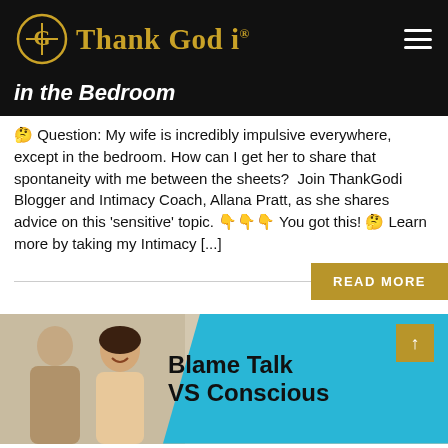Thank God i®
in the Bedroom
🤔 Question: My wife is incredibly impulsive everywhere, except in the bedroom. How can I get her to share that spontaneity with me between the sheets?  Join ThankGodi Blogger and Intimacy Coach, Allana Pratt, as she shares advice on this 'sensitive' topic. 👇👇👇 You got this! 🤔 Learn more by taking my Intimacy [...]
READ MORE
[Figure (photo): Two people (man and woman) with 'Blame Talk VS Conscious' text overlay on cyan/blue background, with gold square and up arrow icon in corner]